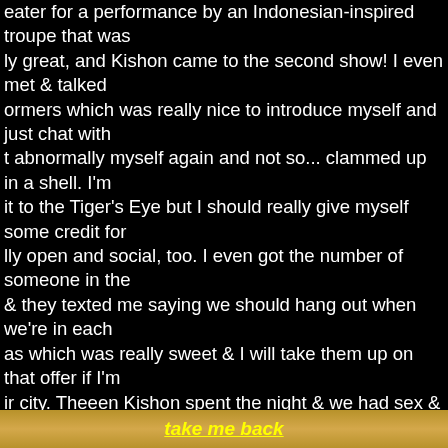eater for a performance by an Indonesian-inspired troupe that was ly great, and Kishon came to the second show! I even met & talked ormers which was really nice to introduce myself and just chat with t abnormally myself again and not so... clammed up in a shell. I'm it to the Tiger's Eye but I should really give myself some credit for lly open and social, too. I even got the number of someone in the & they texted me saying we should hang out when we're in each as which was really sweet & I will take them up on that offer if I'm ir city. Theeen Kishon spent the night & we had sex & it was really ays call sex "nice," idk why, I guess I just mean it was good. It was . There is always some un-realized fantasy I have because I can't y have penetrative sex, so I get frustrated, but Kishon has patience s really gentle and that makes me feel good. Also because I don't k shi gave me the biggest hickey I have ever had in my whole life, MBARRASSINGLY large one, so I really hope that fades by the eeing my family for Thanksgiving. This morning we had sex again as even better lol, like it was really great sex. Also we were being I didn't realize Robi had someone over so I really hope neither of d hear us, lmfao. Then I made her some bibimbap & I made myself & Q cachapas, yum. Kishon had to leave at 3. I was being really obably because shi fucked my brains out & also because I miss hir r so so much! I wish we lived together so badly and I told hir that were driving to hir place. I can't wait to get married so I can call hir my wife. That sounds soooo nice, "my wife" <3 <3 <3
take me back